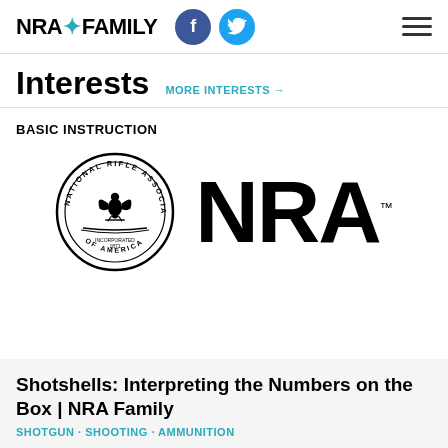NRA FAMILY
Interests  MORE INTERESTS →
BASIC INSTRUCTION
[Figure (logo): NRA logo: circular National Rifle Association seal on the left and large bold NRA wordmark with TM on the right]
Shotshells: Interpreting the Numbers on the Box | NRA Family